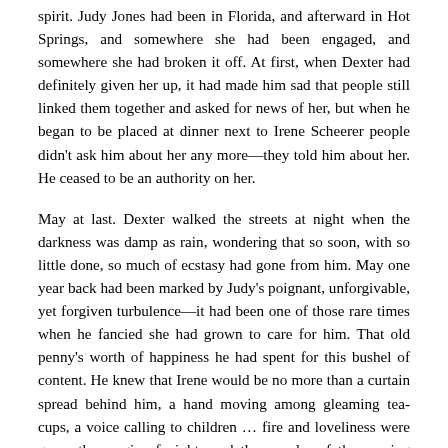spirit. Judy Jones had been in Florida, and afterward in Hot Springs, and somewhere she had been engaged, and somewhere she had broken it off. At first, when Dexter had definitely given her up, it had made him sad that people still linked them together and asked for news of her, but when he began to be placed at dinner next to Irene Scheerer people didn't ask him about her any more—they told him about her. He ceased to be an authority on her.
May at last. Dexter walked the streets at night when the darkness was damp as rain, wondering that so soon, with so little done, so much of ecstasy had gone from him. May one year back had been marked by Judy's poignant, unforgivable, yet forgiven turbulence—it had been one of those rare times when he fancied she had grown to care for him. That old penny's worth of happiness he had spent for this bushel of content. He knew that Irene would be no more than a curtain spread behind him, a hand moving among gleaming tea-cups, a voice calling to children … fire and loveliness were gone, the magic of nights and the wonder of the varying hours and seasons … slender lips, down-turning, dropping to his lips and bearing him up into a heaven of eyes… The thing was deep in him. He was too strong and alive for it to die lightly.
In the middle of May when the weather balanced for a few